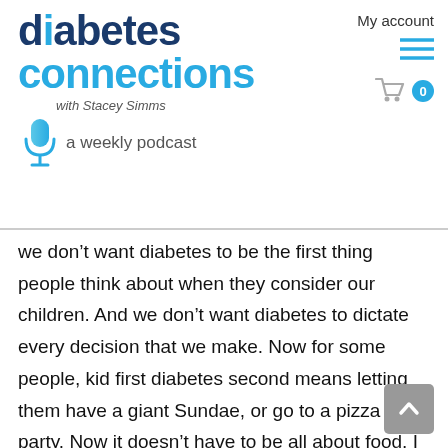[Figure (logo): Diabetes Connections with Stacey Simms logo — a weekly podcast, with microphone icon]
My account
we don't want diabetes to be the first thing people think about when they consider our children. And we don't want diabetes to dictate every decision that we make. Now for some people, kid first diabetes second means letting them have a giant Sundae, or go to a pizza party. Now it doesn't have to be all about food. I did say it to myself years ago when I let my son go to regular sleepaway camp, not diabetes camp for two weeks when he was eight, and he has gone a month every year since then. So I've said that to myself, right kid first, diabetes, second, let's do this. But the more I think about it, the more I think it misses the mark. Kid first diabetes second, isn't right. It seeks to separate the diabetes from the kid, which is impossible to